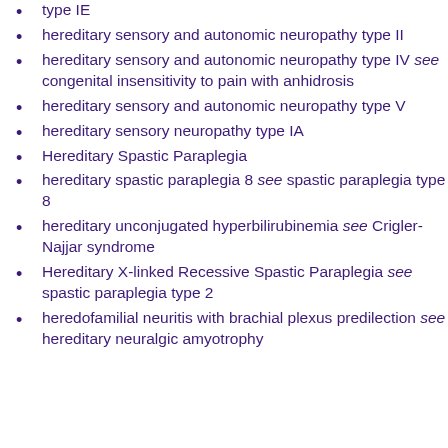type IE
hereditary sensory and autonomic neuropathy type II
hereditary sensory and autonomic neuropathy type IV see congenital insensitivity to pain with anhidrosis
hereditary sensory and autonomic neuropathy type V
hereditary sensory neuropathy type IA
Hereditary Spastic Paraplegia
hereditary spastic paraplegia 8 see spastic paraplegia type 8
hereditary unconjugated hyperbilirubinemia see Crigler-Najjar syndrome
Hereditary X-linked Recessive Spastic Paraplegia see spastic paraplegia type 2
heredofamilial neuritis with brachial plexus predilection see hereditary neuralgic amyotrophy